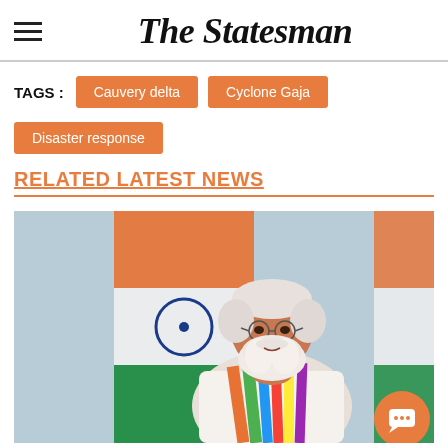The Statesman
TAGS : Cauvery delta  Cyclone Gaja  Disaster response
RELATED LATEST NEWS
[Figure (photo): A photograph of a white-bearded elderly man (PM Modi) in white clothing with a colorful scarf, standing in front of the Indian tricolor flag with saffron, white, and green colors and the Ashoka Chakra visible.]